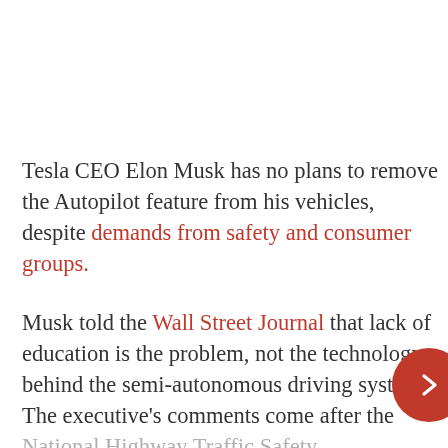Tesla CEO Elon Musk has no plans to remove the Autopilot feature from his vehicles, despite demands from safety and consumer groups.
Musk told the Wall Street Journal that lack of education is the problem, not the technology behind the semi-autonomous driving system. The executive's comments come after the National Highway Traffic Safety Administration delivered a lengthy list of actions to Tesla b...